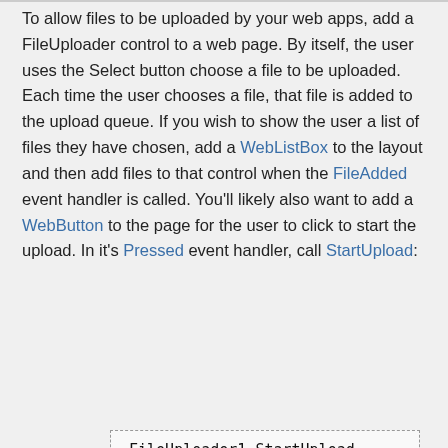To allow files to be uploaded by your web apps, add a FileUploader control to a web page. By itself, the user uses the Select button choose a file to be uploaded. Each time the user chooses a file, that file is added to the upload queue. If you wish to show the user a list of files they have chosen, add a WebListBox to the layout and then add files to that control when the FileAdded event handler is called. You'll likely also want to add a WebButton to the page for the user to click to start the upload. In it's Pressed event handler, call StartUpload:
FileUploader1.StartUpload
After the files have been uploaded, they will be in memory and the UploadFinished event handler is called. Here you can process the uploaded files and choose to do something with them. This code saves uploaded files to